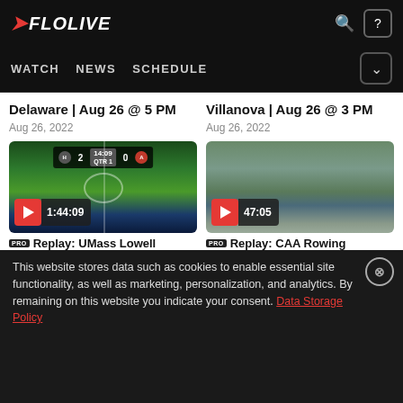FLOLIVE — WATCH | NEWS | SCHEDULE
Delaware | Aug 26 @ 5 PM
Aug 26, 2022
Villanova | Aug 26 @ 3 PM
Aug 26, 2022
[Figure (screenshot): Video thumbnail of soccer game with scoreboard showing 2-0, QTR 1, time 14:09, with play button and duration 1:44:09]
[Figure (screenshot): Video thumbnail of rowing/water scene with play button and duration 47:05]
Replay: UMass Lowell
Replay: CAA Rowing
This website stores data such as cookies to enable essential site functionality, as well as marketing, personalization, and analytics. By remaining on this website you indicate your consent. Data Storage Policy